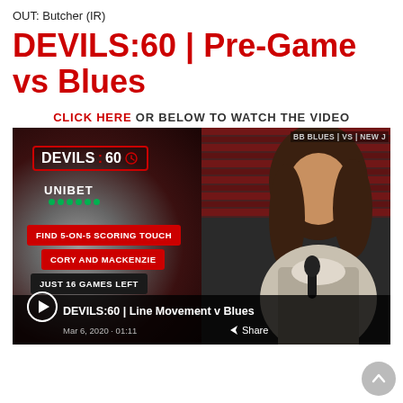OUT: Butcher (IR)
DEVILS:60 | Pre-Game vs Blues
CLICK HERE OR BELOW TO WATCH THE VIDEO
[Figure (screenshot): Video thumbnail showing DEVILS:60 branding with UNIBET sponsor, three topic buttons (FIND 5-ON-5 SCORING TOUCH, CORY AND MACKENZIE, JUST 16 GAMES LEFT), a play button, and video title 'DEVILS:60 | Line Movement v Blues', dated Mar 6, 2020 • 01:11, with a woman reporter on the right side of the frame in an arena setting.]